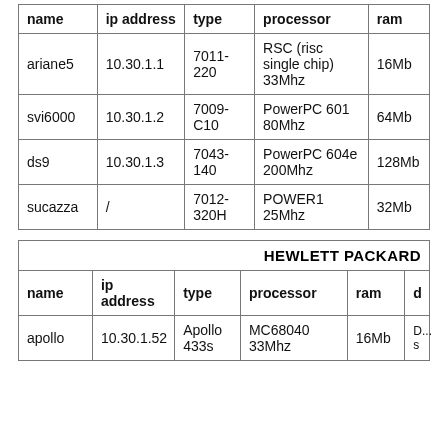| name | ip address | type | processor | ram |
| --- | --- | --- | --- | --- |
| ariane5 | 10.30.1.1 | 7011-220 | RSC (risc single chip) 33Mhz | 16Mb |
| svi6000 | 10.30.1.2 | 7009-C10 | PowerPC 601 80Mhz | 64Mb |
| ds9 | 10.30.1.3 | 7043-140 | PowerPC 604e 200Mhz | 128Mb |
| sucazza | / | 7012-320H | POWER1 25Mhz | 32Mb |
| name | ip address | type | processor | ram | d |
| --- | --- | --- | --- | --- | --- |
| apollo | 10.30.1.52 | Apollo 433s | MC68040 33Mhz | 16Mb | D...s |